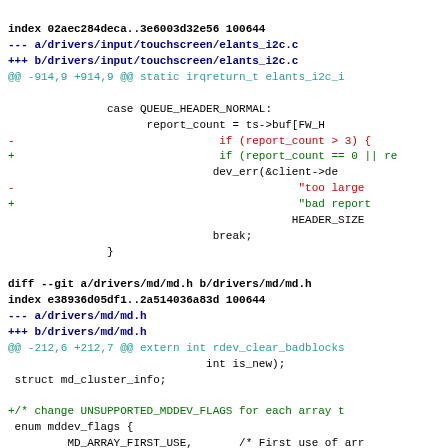index 02aec284deca..3e6003d32e56 100644
--- a/drivers/input/touchscreen/elants_i2c.c
+++ b/drivers/input/touchscreen/elants_i2c.c
@@ -914,9 +914,9 @@ static irqreturn_t elants_i2c_i

                    case QUEUE_HEADER_NORMAL:
                          report_count = ts->buf[FW_H
-                                if (report_count > 3) {
+                                if (report_count == 0 || re
                                dev_err(&client->de
-                                            "too large
+                                            "bad report
                                            HEADER_SIZE
                                break;
                    }

diff --git a/drivers/md/md.h b/drivers/md/md.h
index e38936d05df1..2a514036a83d 100644
--- a/drivers/md/md.h
+++ b/drivers/md/md.h
@@ -212,6 +212,7 @@ extern int rdev_clear_badblocks
                               int is_new);
 struct md_cluster_info;

+/* change UNSUPPORTED_MDDEV_FLAGS for each array t
 enum mddev_flags {
         MD_ARRAY_FIRST_USE,       /* First use of arr
         MD_CLOSING,               /* If set, we are c
@@ -702,4 +703,11 @@ static inline int mddev_is_clu
 {